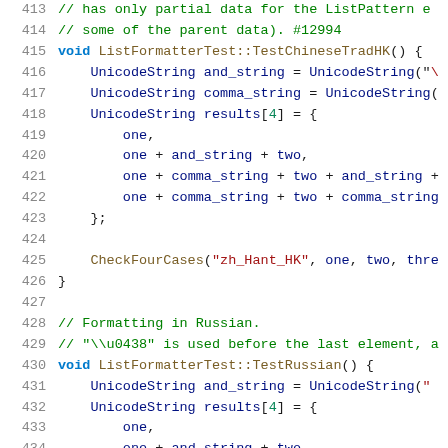[Figure (screenshot): Source code listing showing C++ test functions for ListFormatter, covering lines 413-434, including TestChineseTradHK and TestRussian methods with UnicodeString declarations and CheckFourCases calls.]